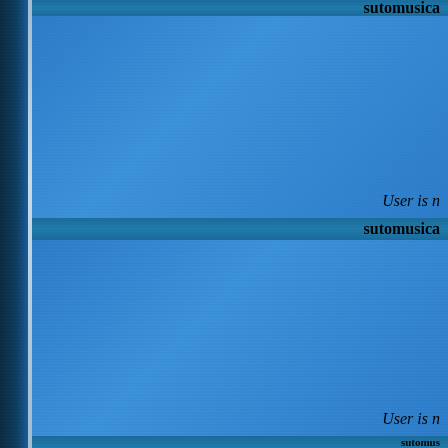[Figure (screenshot): Screenshot of a web application UI showing a list of items with dark blue left sidebar, thin light divider, and alternating blue panel rows. Each row has a teal/dark blue header bar with bold white text (username starting with 'sutomusicaㅡ') and a lighter blue body area with italic light-colored text reading 'User is n...' (truncated). Three such rows are visible: first row header shows 'sutomusica...' at top (cut off), body shows 'User is n...'; second row header shows 'sutomusica...', body shows 'User is n...'; third row header shows 'sutomus...' (partially cut off at bottom), body shows 'No d...' (partially visible).]